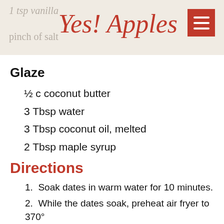Yes! Apples
1 tsp vanilla
pinch of salt
Glaze
½ c coconut butter
3 Tbsp water
3 Tbsp coconut oil, melted
2 Tbsp maple syrup
Directions
1. Soak dates in warm water for 10 minutes.
2. While the dates soak, preheat air fryer to 370° F for 4 minutes.